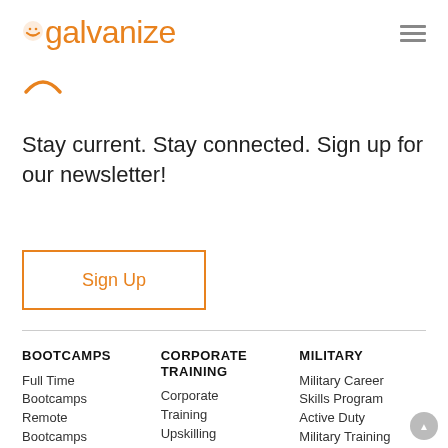galvanize
[Figure (logo): Galvanize orange logo arc/smile icon]
Stay current. Stay connected. Sign up for our newsletter!
Sign Up
BOOTCAMPS
Full Time Bootcamps
Remote Bootcamps
Part Time Bootcamps
CORPORATE TRAINING
Corporate Training
Upskilling
Talent and Hiring
Curriculum as a Service
MILITARY
Military Career Skills Program
Active Duty Military Training
Hire a Veteran
VA Education Benefits